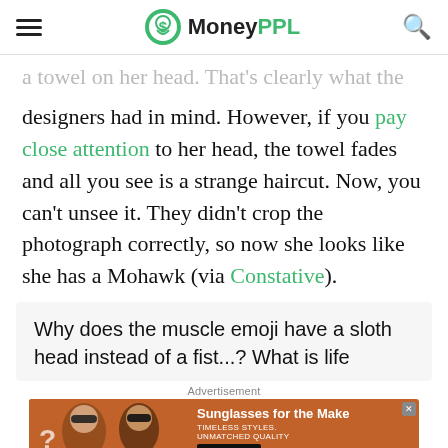MoneyPPL
a towel on her head. That's clearly what the designers had in mind. However, if you pay close attention to her head, the towel fades and all you see is a strange haircut. Now, you can't unsee it. They didn't crop the photograph correctly, so now she looks like she has a Mohawk (via Constative).
Why does the muscle emoji have a sloth head instead of a fist...? What is life
[Figure (screenshot): Advertisement banner for sunglasses with two women wearing sunglasses on orange background. Text: Sunglasses for the Make, TIMELESS STYLES, UNMATCHED QUALITY, SHOP NOW button.]